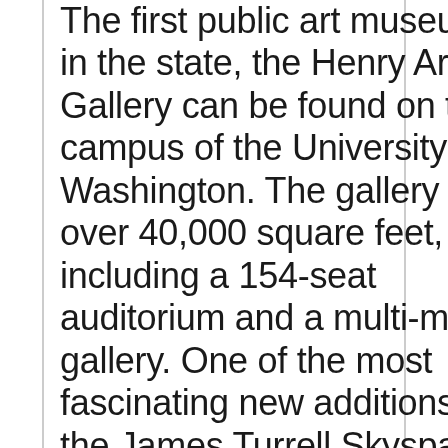The first public art museum in the state, the Henry Art Gallery can be found on the campus of the University of Washington. The gallery has over 40,000 square feet, including a 154-seat auditorium and a multi-media gallery. One of the most fascinating new additions is the James Turrell Skyspace, Light Reign. This permanent installation piece is a freestanding elliptical chamber whose